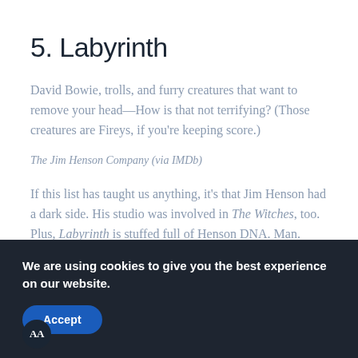5. Labyrinth
David Bowie, trolls, and furry creatures that want to remove your head—How is that not terrifying? (Those creatures are Fireys, if you're keeping score.)
The Jim Henson Company (via IMDb)
If this list has taught us anything, it's that Jim Henson had a dark side. His studio was involved in The Witches, too. Plus, Labyrinth is stuffed full of Henson DNA. Man.
We are using cookies to give you the best experience on our website.
Accept